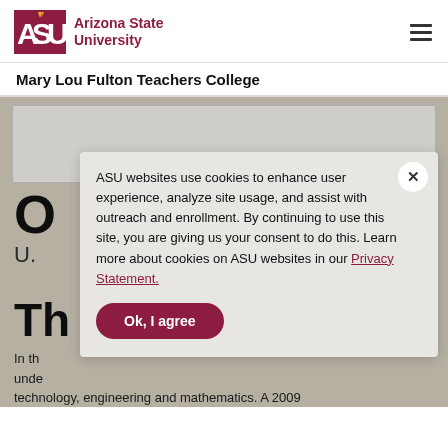ASU Arizona State University
Mary Lou Fulton Teachers College
O
U.
Th
In th... unde... technology, engineering and mathematics. A 2009 study by the U.S. Department of Commerce found
ASU websites use cookies to enhance user experience, analyze site usage, and assist with outreach and enrollment. By continuing to use this site, you are giving us your consent to do this. Learn more about cookies on ASU websites in our Privacy Statement.
Ok, I agree